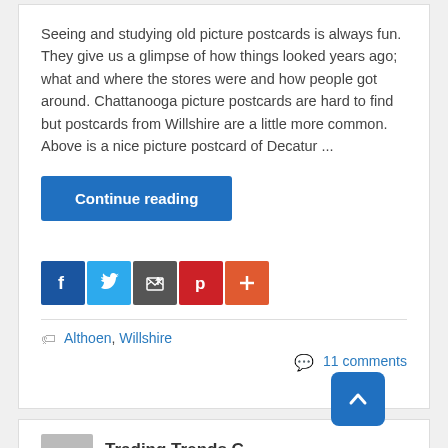Seeing and studying old picture postcards is always fun. They give us a glimpse of how things looked years ago; what and where the stores were and how people got around. Chattanooga picture postcards are hard to find but postcards from Willshire are a little more common. Above is a nice picture postcard of Decatur ...
Continue reading
[Figure (infographic): Social share icons: Facebook (blue), Twitter (light blue), email/share (dark gray), Pinterest (red), More/Plus (orange-red)]
Althoen, Willshire
11 comments